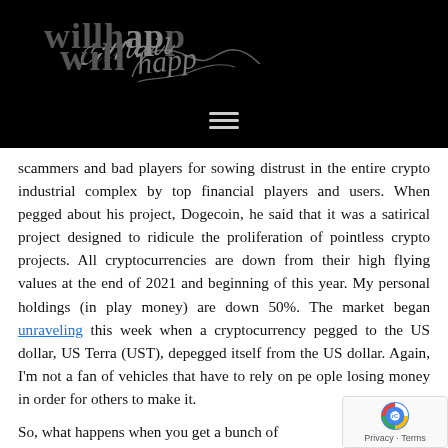[Figure (logo): Website header with 'willhapp' logo text and cursive signature on black background, with hamburger menu icon]
scammers and bad players for sowing distrust in the entire crypto industrial complex by top financial players and users. When pegged about his project, Dogecoin, he said that it was a satirical project designed to ridicule the proliferation of pointless crypto projects. All cryptocurrencies are down from their high flying values at the end of 2021 and beginning of this year. My personal holdings (in play money) are down 50%. The market began unraveling this week when a cryptocurrency pegged to the US dollar, US Terra (UST), depegged itself from the US dollar. Again, I'm not a fan of vehicles that have to rely on people losing money in order for others to make it.
So, what happens when you get a bunch of